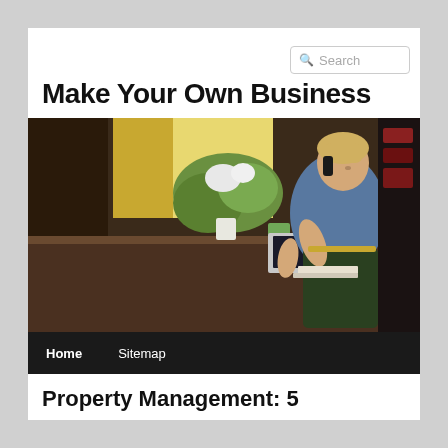Search
Make Your Own Business
[Figure (photo): A blonde woman in a blue shirt and dark apron leans over a counter, talking on the phone while working on a laptop in what appears to be a shop or cafe. Plants and flowers are visible in the background.]
Home   Sitemap
Property Management: 5